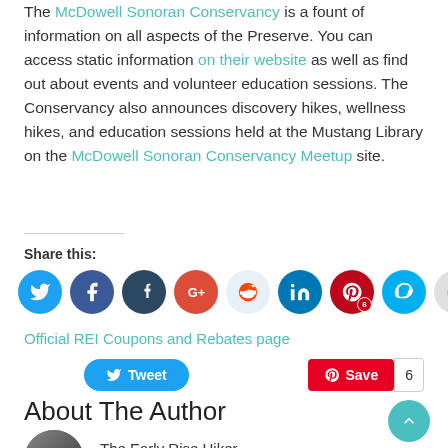The McDowell Sonoran Conservancy is a fount of information on all aspects of the Preserve. You can access static information on their website as well as find out about events and volunteer education sessions. The Conservancy also announces discovery hikes, wellness hikes, and education sessions held at the Mustang Library on the McDowell Sonoran Conservancy Meetup site.
Share this:
[Figure (infographic): Social media share icons: Twitter (blue), Facebook (dark blue), Tumblr (dark), Google+ (red), Reddit (light blue), LinkedIn (blue), Pinterest (red, badge 6), Skype (cyan), Print (gray)]
Official REI Coupons and Rebates page
[Figure (infographic): Tweet button and Pinterest Save button with count 6]
About The Author
The Early Rise Hiker